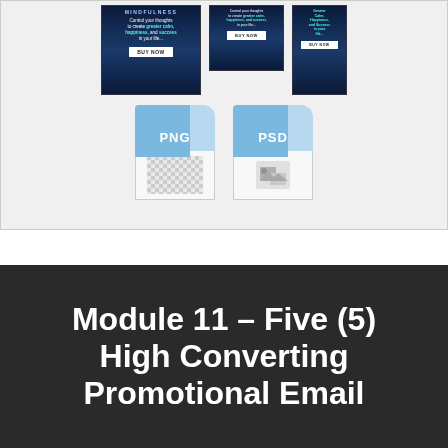[Figure (illustration): Marketing banner ads in various sizes (large horizontal, medium, narrow vertical) with 'Mindfulness' branding showing 'Control your thoughts to create greater calm, happiness, and success in your life...' text with BUY NOW buttons, plus PNG and PSD file format icons shown below the banners]
Module 11 – Five (5) High Converting Promotional Email